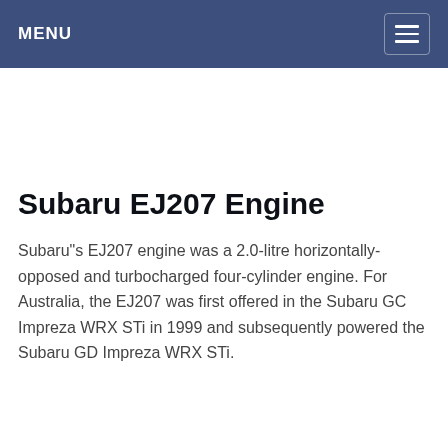MENU
Subaru EJ207 Engine
Subaru"s EJ207 engine was a 2.0-litre horizontally-opposed and turbocharged four-cylinder engine. For Australia, the EJ207 was first offered in the Subaru GC Impreza WRX STi in 1999 and subsequently powered the Subaru GD Impreza WRX STi.